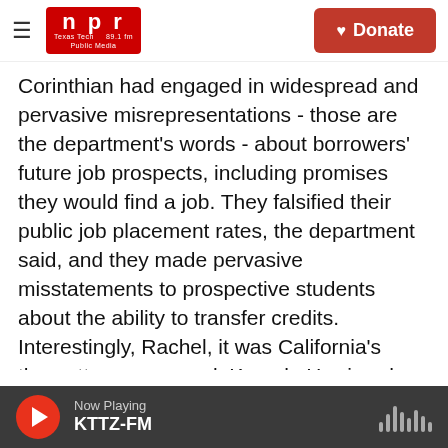NPR Texas Tech Public Media 89.1 fm | Donate
Corinthian had engaged in widespread and pervasive misrepresentations - those are the department's words - about borrowers' future job prospects, including promises they would find a job. They falsified their public job placement rates, the department said, and they made pervasive misstatements to prospective students about the ability to transfer credits. Interestingly, Rachel, it was California's then-attorney general, Kamala Harris, who in 2013 sued Corinthian, and that kicked off a chain reaction at the state and federal level that ultimately led to Corinthian shutting down in 2015. And that's also one big reason Vice
Now Playing KTTZ-FM